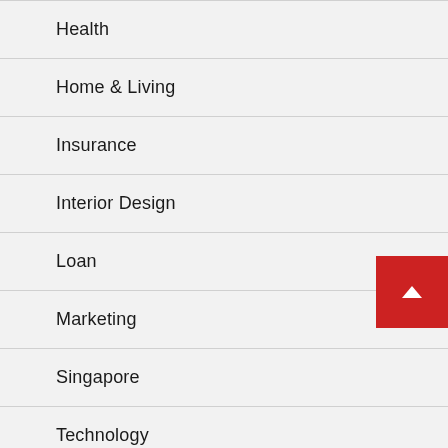Health
Home & Living
Insurance
Interior Design
Loan
Marketing
Singapore
Technology